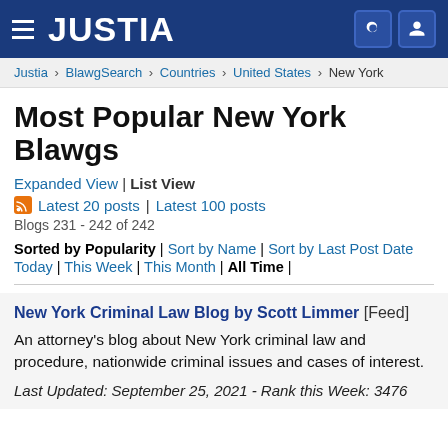JUSTIA
Justia › BlawgSearch › Countries › United States › New York
Most Popular New York Blawgs
Expanded View | List View
Latest 20 posts | Latest 100 posts
Blogs 231 - 242 of 242
Sorted by Popularity | Sort by Name | Sort by Last Post Date Today | This Week | This Month | All Time |
New York Criminal Law Blog by Scott Limmer [Feed]
An attorney's blog about New York criminal law and procedure, nationwide criminal issues and cases of interest.
Last Updated: September 25, 2021 - Rank this Week: 3476